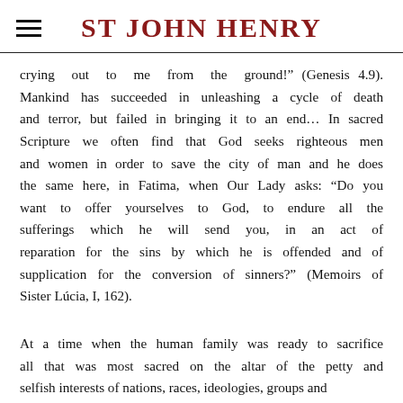ST JOHN HENRY
crying out to me from the ground!” (Genesis 4.9). Mankind has succeeded in unleashing a cycle of death and terror, but failed in bringing it to an end… In sacred Scripture we often find that God seeks righteous men and women in order to save the city of man and he does the same here, in Fatima, when Our Lady asks: “Do you want to offer yourselves to God, to endure all the sufferings which he will send you, in an act of reparation for the sins by which he is offended and of supplication for the conversion of sinners?” (Memoirs of Sister Lúcia, I, 162).
At a time when the human family was ready to sacrifice all that was most sacred on the altar of the petty and selfish interests of nations, races, ideologies, groups and